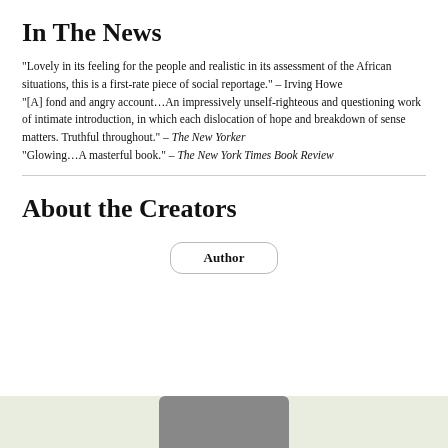In The News
“Lovely in its feeling for the people and realistic in its assessment of the African situations, this is a first-rate piece of social reportage.” – Irving Howe “[A] fond and angry account…An impressively unself-righteous and questioning work of intimate introduction, in which each dislocation of hope and breakdown of sense matters. Truthful throughout.” – The New Yorker “Glowing…A masterful book.” – The New York Times Book Review
About the Creators
[Figure (other): Author button widget with rounded rectangle border]
[Figure (photo): Partial author portrait photo on green background at bottom of page]